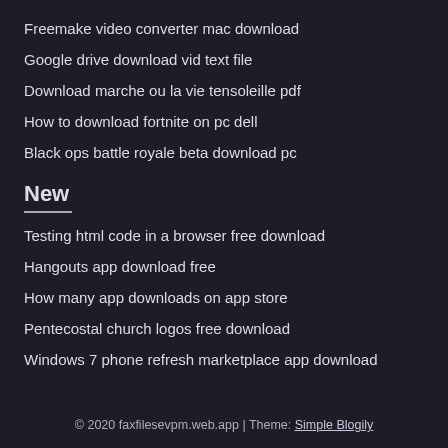Freemake video converter mac download
Google drive download vid text file
Download marche ou la vie tensoleille pdf
How to download fortnite on pc dell
Black ops battle royale beta download pc
New
Testing html code in a browser free download
Hangouts app download free
How many app downloads on app store
Pentecostal church logos free download
Windows 7 phone refresh marketplace app download
© 2020 faxfilesevpm.web.app | Theme: Simple Blogily